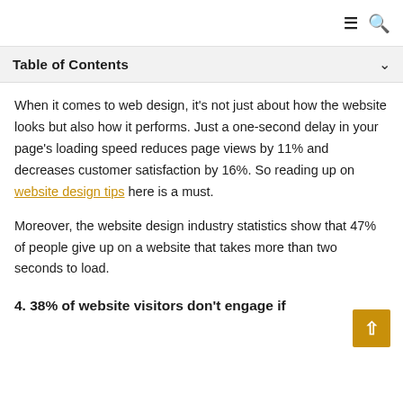≡ 🔍
Table of Contents
When it comes to web design, it's not just about how the website looks but also how it performs. Just a one-second delay in your page's loading speed reduces page views by 11% and decreases customer satisfaction by 16%. So reading up on website design tips here is a must.
Moreover, the website design industry statistics show that 47% of people give up on a website that takes more than two seconds to load.
4. 38% of website visitors don't engage if